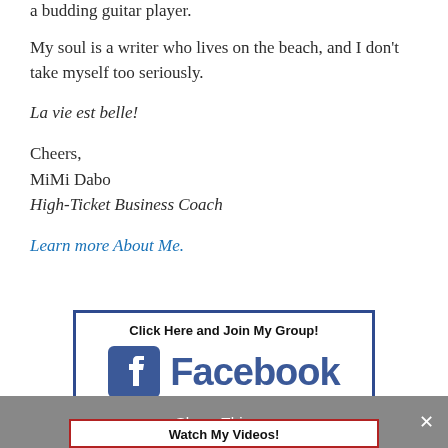a budding guitar player.
My soul is a writer who lives on the beach, and I don't take myself too seriously.
La vie est belle!
Cheers,
MiMi Dabo
High-Ticket Business Coach
Learn more About Me.
[Figure (other): Facebook group join button with 'Click Here and Join My Group!' text and Facebook logo]
Share This
Watch My Videos!